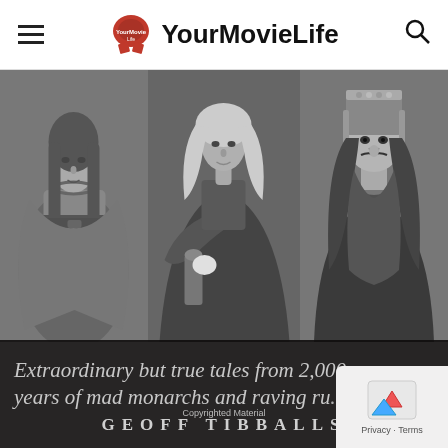YourMovieLife
[Figure (photo): Three black and white portrait images side by side: left panel shows a woman in historical dress with jewelry, middle panel shows a man in ornate military/noble attire, right panel shows a man with a jeweled crown/headdress and long dark hair — styled as historical monarchy portraits. Below the portraits is a dark background with italic text reading 'Extraordinary but true tales from 2,000 years of mad monarchs and raving ru...' and author name 'GEOFF TIBBALLS']
Copyrighted Material